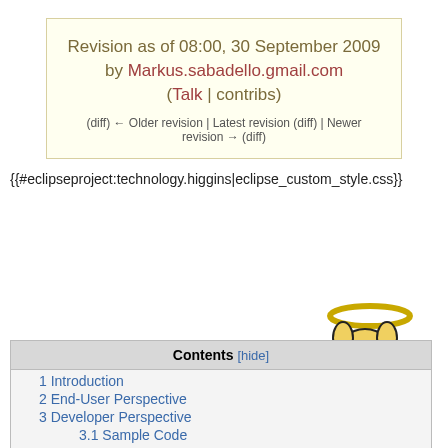Revision as of 08:00, 30 September 2009 by Markus.sabadello.gmail.com (Talk | contribs)
(diff) ← Older revision | Latest revision (diff) | Newer revision → (diff)
{{#eclipseproject:technology.higgins|eclipse_custom_style.css}}
[Figure (illustration): Yellow cartoon mouse/rabbit mascot with a halo, standing upright]
| Contents [hide] |
| --- |
| 1 Introduction |
| 2 End-User Perspective |
| 3 Developer Perspective |
| 3.1 Sample Code |
| 3.2 UDIs |